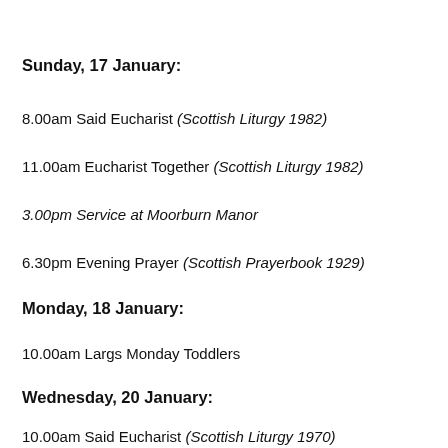Sunday, 17 January:
8.00am Said Eucharist (Scottish Liturgy 1982)
11.00am Eucharist Together (Scottish Liturgy 1982)
3.00pm Service at Moorburn Manor
6.30pm Evening Prayer (Scottish Prayerbook 1929)
Monday, 18 January:
10.00am Largs Monday Toddlers
Wednesday, 20 January:
10.00am Said Eucharist (Scottish Liturgy 1970)